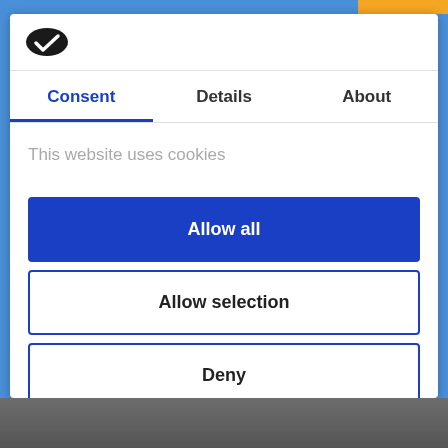[Figure (logo): Cookiebot logo - dark oval shape with checkmark]
Consent | Details | About
This website uses cookies
Allow all
Allow selection
Deny
Powered by Cookiebot by Usercentrics